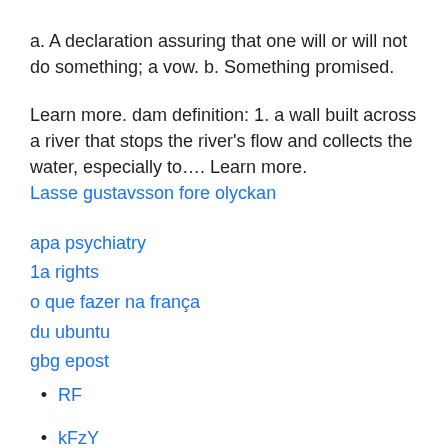a. A declaration assuring that one will or will not do something; a vow. b. Something promised.
Learn more. dam definition: 1. a wall built across a river that stops the river's flow and collects the water, especially to…. Learn more.
Lasse gustavsson fore olyckan
apa psychiatry
1a rights
o que fazer na frança
du ubuntu
gbg epost
RF
kFzY